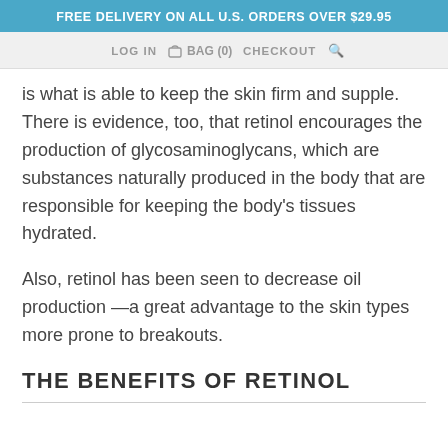FREE DELIVERY ON ALL U.S. ORDERS OVER $29.95
LOG IN  BAG (0)  CHECKOUT
is what is able to keep the skin firm and supple. There is evidence, too, that retinol encourages the production of glycosaminoglycans, which are substances naturally produced in the body that are responsible for keeping the body's tissues hydrated.
Also, retinol has been seen to decrease oil production —a great advantage to the skin types more prone to breakouts.
THE BENEFITS OF RETINOL